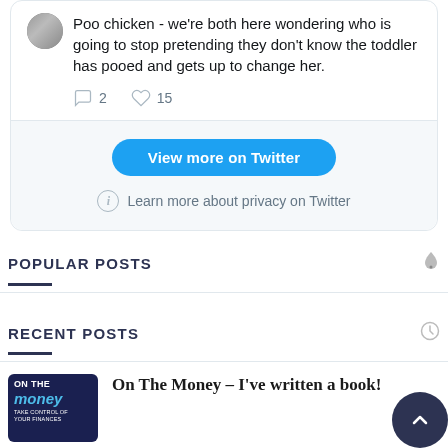[Figure (screenshot): Twitter/X embedded tweet card showing a partial tweet with avatar, text about a toddler, comment and like counts (2 and 15), a 'View more on Twitter' blue button, and a privacy info link. Below is a footer area with light gray background.]
POPULAR POSTS
RECENT POSTS
On The Money – I've written a book!